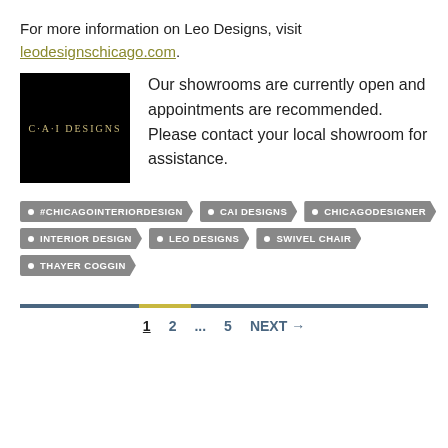For more information on Leo Designs, visit leodesignschicago.com.
[Figure (logo): CAI Designs logo — white text on black square background]
Our showrooms are currently open and appointments are recommended. Please contact your local showroom for assistance.
#CHICAGOINTERIORDESIGN
CAI DESIGNS
CHICAGODESIGNER
INTERIOR DESIGN
LEO DESIGNS
SWIVEL CHAIR
THAYER COGGIN
1  2  ...  5  NEXT →